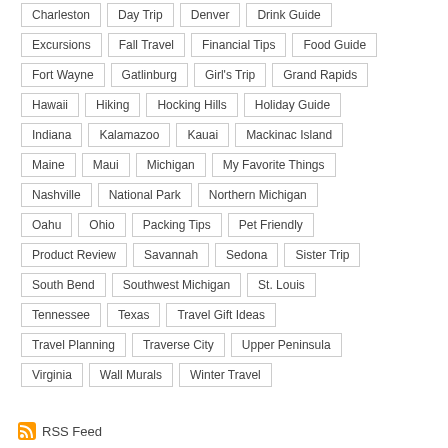Charleston
Day Trip
Denver
Drink Guide
Excursions
Fall Travel
Financial Tips
Food Guide
Fort Wayne
Gatlinburg
Girl's Trip
Grand Rapids
Hawaii
Hiking
Hocking Hills
Holiday Guide
Indiana
Kalamazoo
Kauai
Mackinac Island
Maine
Maui
Michigan
My Favorite Things
Nashville
National Park
Northern Michigan
Oahu
Ohio
Packing Tips
Pet Friendly
Product Review
Savannah
Sedona
Sister Trip
South Bend
Southwest Michigan
St. Louis
Tennessee
Texas
Travel Gift Ideas
Travel Planning
Traverse City
Upper Peninsula
Virginia
Wall Murals
Winter Travel
RSS Feed